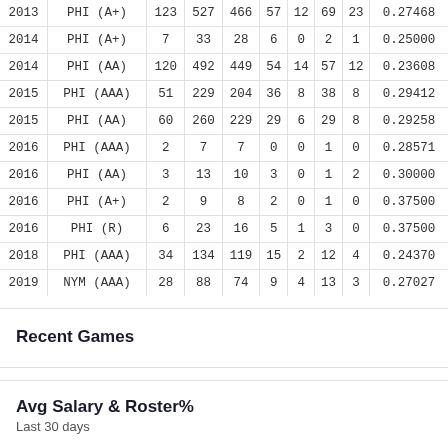| 2013 | PHI (A+) | 123 | 527 | 466 | 57 | 12 | 69 | 23 | 0.27468 |
| 2014 | PHI (A+) | 7 | 33 | 28 | 6 | 0 | 2 | 1 | 0.25000 |
| 2014 | PHI (AA) | 120 | 492 | 449 | 54 | 14 | 57 | 12 | 0.23608 |
| 2015 | PHI (AAA) | 51 | 229 | 204 | 36 | 8 | 38 | 8 | 0.29412 |
| 2015 | PHI (AA) | 60 | 260 | 229 | 29 | 6 | 29 | 8 | 0.29258 |
| 2016 | PHI (AAA) | 2 | 7 | 7 | 0 | 0 | 1 | 0 | 0.28571 |
| 2016 | PHI (AA) | 3 | 13 | 10 | 3 | 0 | 1 | 2 | 0.30000 |
| 2016 | PHI (A+) | 2 | 9 | 8 | 2 | 0 | 1 | 0 | 0.37500 |
| 2016 | PHI (R) | 6 | 23 | 16 | 5 | 1 | 3 | 0 | 0.37500 |
| 2018 | PHI (AAA) | 34 | 134 | 119 | 15 | 2 | 12 | 4 | 0.24370 |
| 2019 | NYM (AAA) | 28 | 88 | 74 | 9 | 4 | 13 | 3 | 0.27027 |
Recent Games
Avg Salary & Roster%
Last 30 days